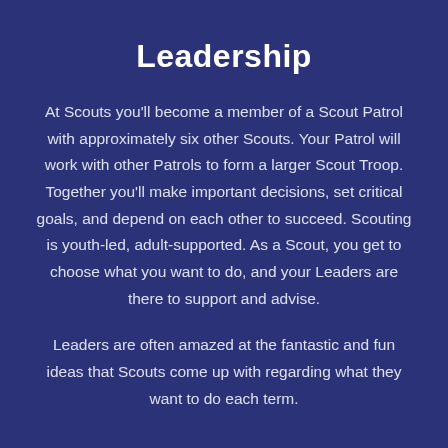Leadership
At Scouts you'll become a member of a Scout Patrol with approximately six other Scouts. Your Patrol will work with other Patrols to form a larger Scout Troop. Together you'll make important decisions, set critical goals, and depend on each other to succeed. Scouting is youth-led, adult-supported. As a Scout, you get to choose what you want to do, and your Leaders are there to support and advise.
Leaders are often amazed at the fantastic and fun ideas that Scouts come up with regarding what they want to do each term.